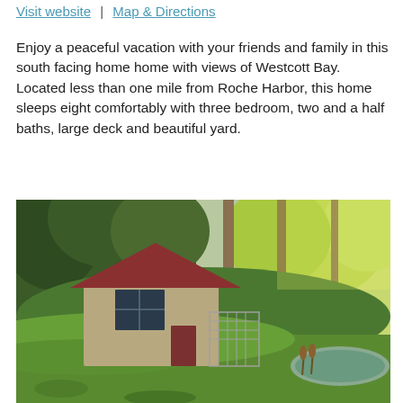Visit website | Map & Directions
Enjoy a peaceful vacation with your friends and family in this south facing home home with views of Westcott Bay. Located less than one mile from Roche Harbor, this home sleeps eight comfortably with three bedroom, two and a half baths, large deck and beautiful yard.
[Figure (photo): Exterior photo of a house with a red metal roof and large windows, surrounded by tall green and yellow trees, with a green lawn and a small pond in the foreground.]